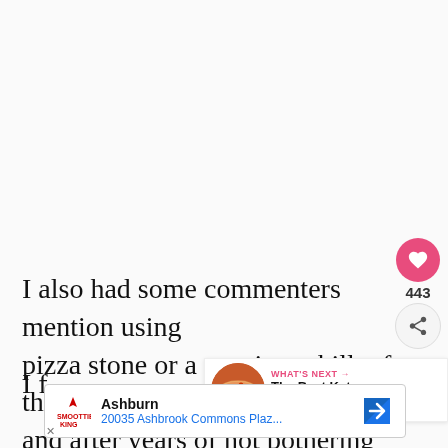I also had some commenters mention using pizza stone or a cast iron skillet for their pizza and after years of not bothering with...
[Figure (screenshot): Floating UI with heart/like button showing 443 likes and a share button]
[Figure (infographic): What's Next panel showing The Best Keto Pizza Crust with a pizza image thumbnail]
[Figure (screenshot): Advertisement banner for Smoothie King showing Ashburn 20035 Ashbrook Commons Plaz... with navigation arrow]
I f... a most